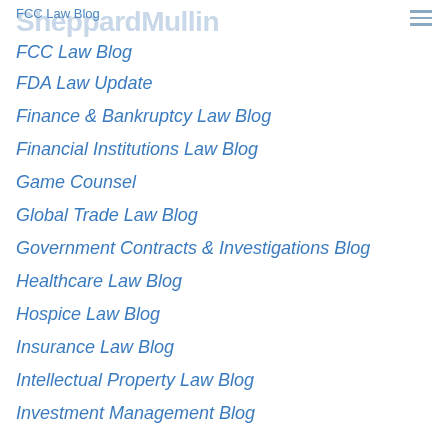SheppardMullin
FCC Law Blog
FDA Law Update
Finance & Bankruptcy Law Blog
Financial Institutions Law Blog
Game Counsel
Global Trade Law Blog
Government Contracts & Investigations Blog
Healthcare Law Blog
Hospice Law Blog
Insurance Law Blog
Intellectual Property Law Blog
Investment Management Blog